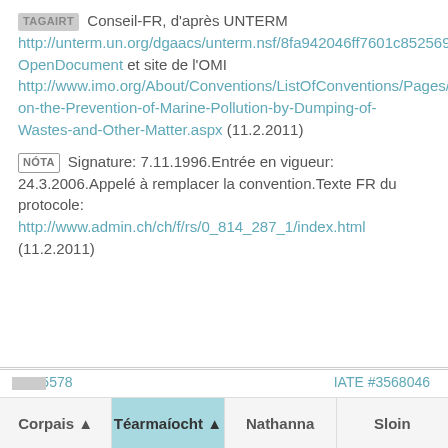TAGAIRT Conseil-FR, d'après UNTERM http://unterm.un.org/dgaacs/unterm.nsf/8fa942046ff7601c85256983007ca4d8/b2f7c3f7879bb69b8525735b006c5428?OpenDocument et site de l'OMI http://www.imo.org/About/Conventions/ListOfConventions/Pages/Convention-on-the-Prevention-of-Marine-Pollution-by-Dumping-of-Wastes-and-Other-Matter.aspx (11.2.2011)
NÓTA Signature: 7.11.1996.Entrée en vigueur: 24.3.2006.Appelé à remplacer la convention.Texte FR du protocole: http://www.admin.ch/ch/f/rs/0_814_287_1/index.html (11.2.2011)
#515578    IATE #3568046